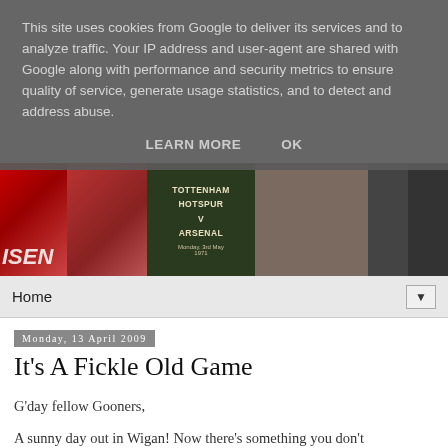This site uses cookies from Google to deliver its services and to analyze traffic. Your IP address and user-agent are shared with Google along with performance and security metrics to ensure quality of service, generate usage statistics, and to detect and address abuse.
LEARN MORE   OK
[Figure (photo): A collage of Arsenal football club images including crowd scenes, a Tottenham Hotspur vs Arsenal match program, fans, and player close-ups forming a website header banner.]
Home
Monday, 13 April 2009
It's A Fickle Old Game
G'day fellow Gooners,
A sunny day out in Wigan! Now there's something you don't